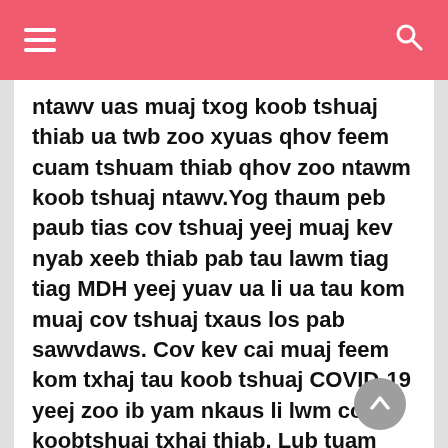☰  [hamburger menu]  [search icon]
ntawv uas muaj txog koob tshuaj thiab ua twb zoo xyuas qhov feem cuam tshuam thiab qhov zoo ntawm koob tshuaj ntawv.Yog thaum peb paub tias cov tshuaj yeej muaj kev nyab xeeb thiab pab tau lawm tiag tiag MDH yeej yuav ua li ua tau kom muaj cov tshuaj txaus los pab sawvdaws. Cov kev cai muaj feem kom txhaj tau koob tshuaj COVID-19 yeej zoo ib yam nkaus li lwm cov koobtshuaj txhaj thiab. Lub tuam txhab tsim koob tshuaj yuav tsum muab cov ntaub ntawv coj los rau cov koomhaum zoo li FDA thiab CDC thiab